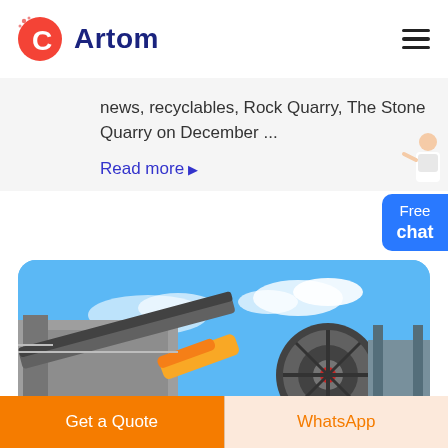[Figure (logo): Artom company logo with a red C letter icon and dark blue Artom text]
news, recyclables, Rock Quarry, The Stone Quarry on December ...
Read more ▶
[Figure (photo): Industrial rock crushing or quarry machinery photographed from below against a blue sky with clouds]
Get a Quote
WhatsApp